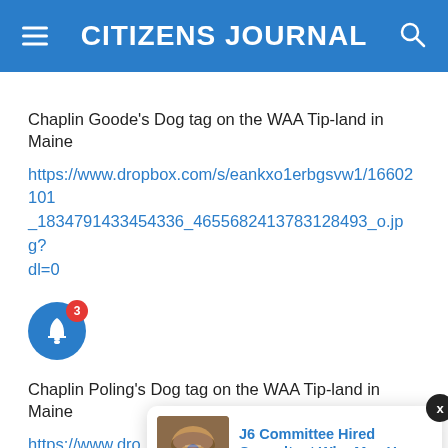CITIZENS JOURNAL
Chaplin Goode’s Dog tag on the WAA Tip-land in Maine
https://www.dropbox.com/s/eankxo1erbgsvw1/16602101_1834791433454336_4655682413783128493_o.jpg?dl=0
[Figure (other): Blue notification bell icon with red badge showing number 3]
Chaplin Poling’s Dog tag on the WAA Tip-land in Maine
https://www.dro..._18347915134..._dl=0
[Figure (screenshot): Popup notification card with image of a person wearing a fur hat and face paint, with title 'J6 Committee Hired Consultant Who May Have' and timestamp '1 hour ago']